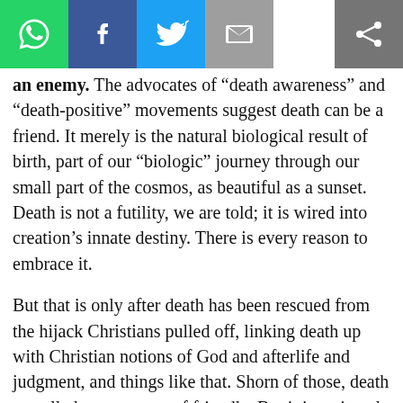[Figure (other): Social share toolbar with WhatsApp, Facebook, Twitter, Email, and generic share buttons]
an enemy. The advocates of “death awareness” and “death-positive” movements suggest death can be a friend. It merely is the natural biological result of birth, part of our “biologic” journey through our small part of the cosmos, as beautiful as a sunset. Death is not a futility, we are told; it is wired into creation’s innate destiny. There is every reason to embrace it.
But that is only after death has been rescued from the hijack Christians pulled off, linking death up with Christian notions of God and afterlife and judgment, and things like that. Shorn of those, death actually becomes sort of friendly. But it is a ginned up camaraderie, a cold snuggle with the falling night.